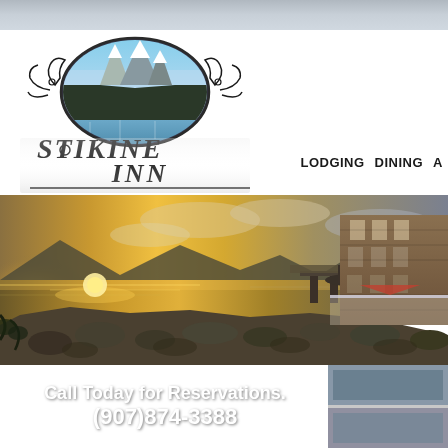[Figure (logo): Stikine Inn logo with oval mountain/glacier photo, ornate lettering 'STIKINE INN' and decorative scrollwork]
LODGING  DINING  A
[Figure (photo): Waterfront panoramic photo showing a sunset over a bay with mountains, a dock/pier, rocky shoreline in the foreground, and a wooden multi-story building (the Stikine Inn) on the right with an umbrella/patio area]
Call Today for Reservations.
(907)874-3388